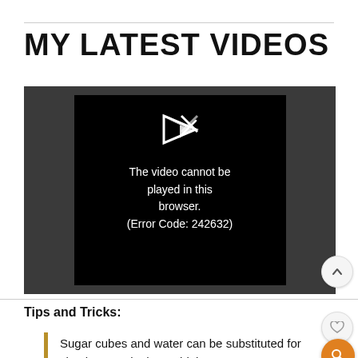MY LATEST VIDEOS
[Figure (screenshot): Video player showing error message: 'The video cannot be played in this browser. (Error Code: 242632)']
Tips and Tricks:
Sugar cubes and water can be substituted for simple syrup in these drinks.
Rub your rims with orange peel.  This gives a little added flavor and complexity to the cocktail.
Don't stir these drinks too much...